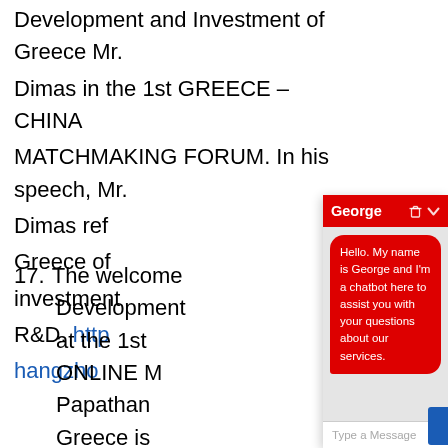Development and Investment of Greece Mr. Dimas in the 1st GREECE – CHINA MATCHMAKING FORUM. In his speech, Mr. Dimas referred to the investment climate in Greece of ... investment ... R&D. http...hangzhou...
17. The welcome ... Development ... at the 1st ... ONLINE ... Papathan ... Greece is ... Chinese investors.
[Figure (screenshot): Chatbot widget overlay named 'George' with red header, showing message 'Hello. My name is George and I'm a chatbot here to assist you with your questions about our services.' and a text input field 'Type a Message'.]